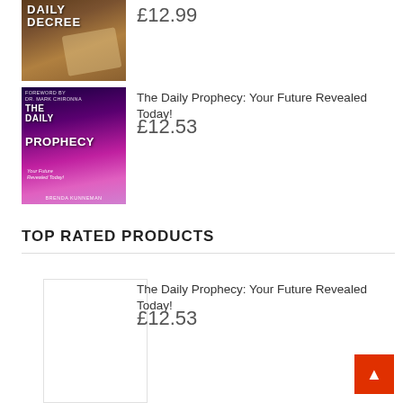[Figure (photo): Book cover of The Daily Decree, brown tones]
£12.99
[Figure (photo): Book cover of The Daily Prophecy: Your Future Revealed Today! by Brenda Kunneman, purple/pink gradient]
The Daily Prophecy: Your Future Revealed Today!
£12.53
TOP RATED PRODUCTS
[Figure (photo): Book cover of The Daily Prophecy (white/blank thumbnail), top rated section]
The Daily Prophecy: Your Future Revealed Today!
£12.53